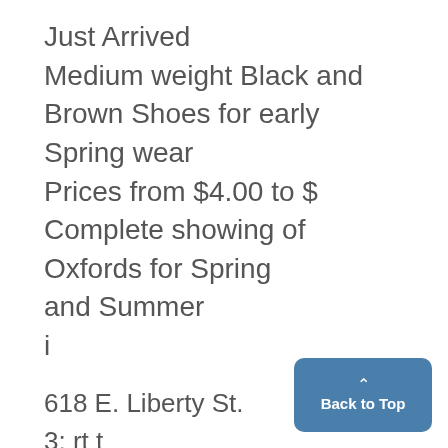Just Arrived
Medium weight Black and Brown Shoes for early Spring wear
Prices from $4.00 to $
Complete showing of Oxfords for Spring and Summer
i
618 E. Liberty St.
3; rt t